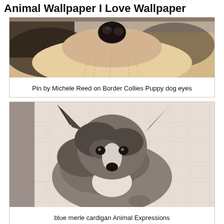Animal Wallpaper I Love Wallpaper
[Figure (photo): Close-up photo of a fluffy dog (Border Collie) face from below, showing its black nose and cream/golden fur against a blurred background.]
Pin by Michele Reed on Border Collies Puppy dog eyes
[Figure (photo): Photo of a blue merle Border Collie or Cardigan Corgi puppy with large ears, looking up at the camera, sitting on a tiled floor.]
blue merle cardigan Animal Expressions